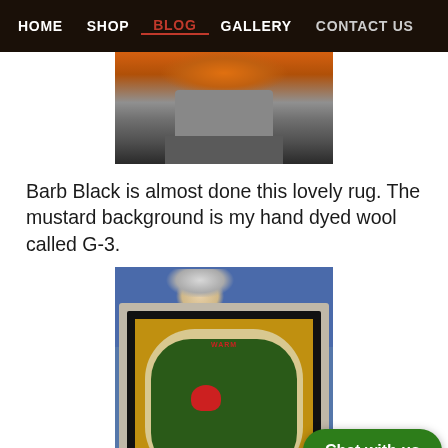HOME  SHOP  BLOG  GALLERY  CONTACT US
[Figure (photo): Partial photo of a person holding or wearing a round rug with orange/amber tones, taken from behind/below, showing person's lower body in gray clothing and socks on a wooden floor.]
Barb Black is almost done this lovely rug. The mustard background is my hand dyed wool called G-3.
[Figure (photo): Woman holding up a hooked rug that reads 'WARM YOUR HEART GROW' with a central heart and dove motifs on a green background with mustard/yellow border, gray outer border. A 'Chat with us' button overlay appears in the lower right.]